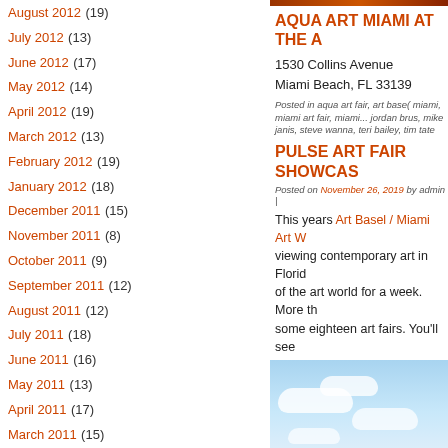August 2012 (19)
July 2012 (13)
June 2012 (17)
May 2012 (14)
April 2012 (19)
March 2012 (13)
February 2012 (19)
January 2012 (18)
December 2011 (15)
November 2011 (8)
October 2011 (9)
September 2011 (12)
August 2011 (12)
July 2011 (18)
June 2011 (16)
May 2011 (13)
April 2011 (17)
March 2011 (15)
February 2011 (18)
January 2011 (17)
December 2010 (15)
November 2010 (12)
October 2010 (16)
September 2010 (14)
August 2010 (14)
July 2010 (18)
AQUA ART MIAMI AT THE A
1530 Collins Avenue
Miami Beach, FL 33139
Posted in aqua art fair, art base( miami, miami art fair, miami... jordan brus, mike janis, steve wanna, teri bailey, tim tate
PULSE ART FAIR SHOWCAS
Posted on November 26, 2019 by admin |
This years Art Basel / Miami Art W... viewing contemporary art in Floric of the art world for a week. More th some eighteen art fairs. You'll see
[Figure (photo): Sky with clouds photo]